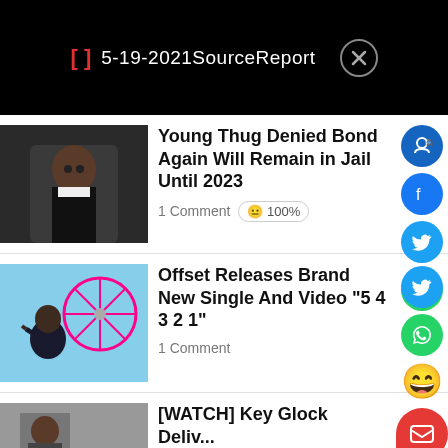5-19-2021SourceReport
[Figure (photo): Portrait photo of Young Thug]
Young Thug Denied Bond Again Will Remain in Jail Until 2023
1 Comment  😐 100%
[Figure (photo): Photo of Offset looking up at a Ferris wheel]
Offset Releases Brand New Single And Video “5 4 3 2 1”
1 Comment
[Figure (photo): Third article thumbnail - person indoors]
[WATCH] Key Glock Deli...